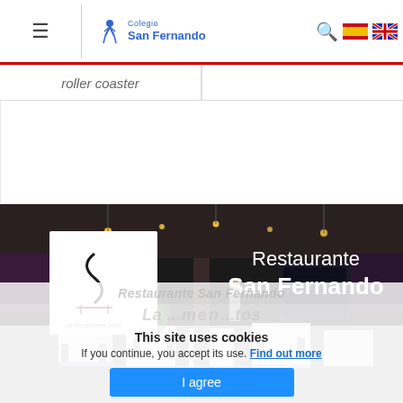Colegio San Fernando
roller coaster
[Figure (photo): Restaurant San Fernando interior photo showing dining tables with white tablecloths and dark chairs, decorative plants, purple lighting accents. Logo of sFhosteleria.com overlaid on left. Text 'Restaurante San Fernando' overlaid on right in white.]
This site uses cookies
If you continue, you accept its use. Find out more
I agree